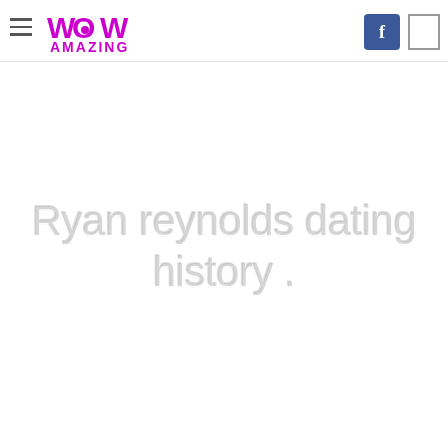WOW Amazing
Ryan reynolds dating history .